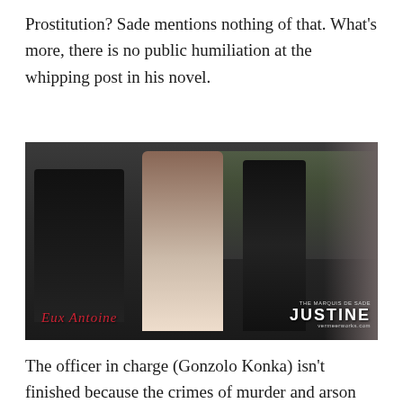Prostitution? Sade mentions nothing of that. What’s more, there is no public humiliation at the whipping post in his novel.
[Figure (photo): A scene from a film adaptation showing a person in white dress with long dark hair being restrained at a post by a figure in black, with a crowd of onlookers in period costumes in the background. Bottom-left watermark reads 'Eux Antoine' in red italic script. Bottom-right shows 'THE MARQUIS DE SADE JUSTINE' logo with 'vermeerworks.com' URL.]
The officer in charge (Gonzolo Konka) isn’t finished because the crimes of murder and arson are also part of the charges. Justine escaped from prison with the gang